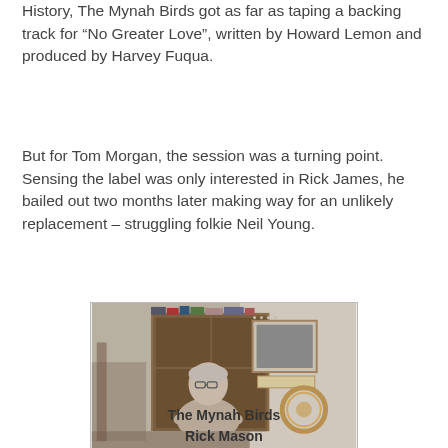History, The Mynah Birds got as far as taping a backing track for “No Greater Love”, written by Howard Lemon and produced by Harvey Fuqua.
But for Tom Morgan, the session was a turning point. Sensing the label was only interested in Rick James, he bailed out two months later making way for an unlikely replacement – struggling folkie Neil Young.
[Figure (photo): A middle-aged man with short gray hair, wearing a light short-sleeve shirt, sitting with arms crossed in front of a wooden cabinet/bookcase. On the wall behind him is a framed black-and-white photograph and a tambourine hanging on the wall.]
The Mynah Birds
Rick Mason